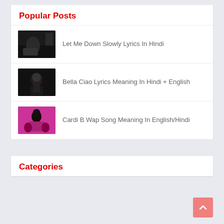Popular Posts
Let Me Down Slowly Lyrics In Hindi
Bella Ciao Lyrics Meaning In Hindi + English
Cardi B Wap Song Meaning In English/Hindi
Categories